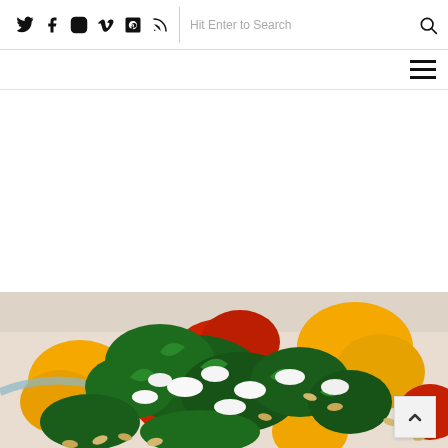Social icons: Twitter, Facebook, Instagram, Vimeo, Pinterest, RSS | Search bar: Hit Enter to Search
Navigation menu (hamburger icon)
[Figure (photo): Close-up photo of a colorful salad in a bowl with yellow and red bell peppers, fresh green herbs (parsley/cilantro), white crumbled cheese (feta), and pine nuts/seeds on a light background]
[Figure (other): Back-to-top button with upward chevron arrow in bottom right corner of page]